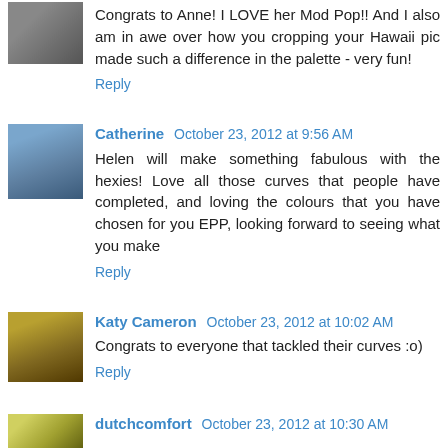[Figure (photo): Small avatar photo (partial, dark tones) top left]
Congrats to Anne! I LOVE her Mod Pop!! And I also am in awe over how you cropping your Hawaii pic made such a difference in the palette - very fun!
Reply
[Figure (photo): Avatar photo of Catherine, blue/outdoor tones]
Catherine  October 23, 2012 at 9:56 AM
Helen will make something fabulous with the hexies! Love all those curves that people have completed, and loving the colours that you have chosen for you EPP, looking forward to seeing what you make
Reply
[Figure (photo): Avatar photo of Katy Cameron, warm/golden tones]
Katy Cameron  October 23, 2012 at 10:02 AM
Congrats to everyone that tackled their curves :o)
Reply
[Figure (photo): Avatar photo of dutchcomfort, yellow/green circular pattern]
dutchcomfort  October 23, 2012 at 10:30 AM